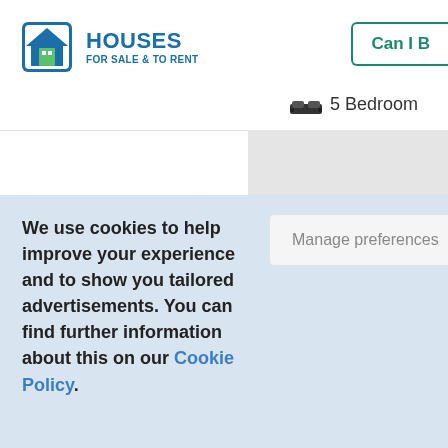HOUSES FOR SALE & TO RENT
5 Bedroom
We use cookies to help improve your experience and to show you tailored advertisements. You can find further information about this on our Cookie Policy.
Manage preferences
Accept All
Can I B